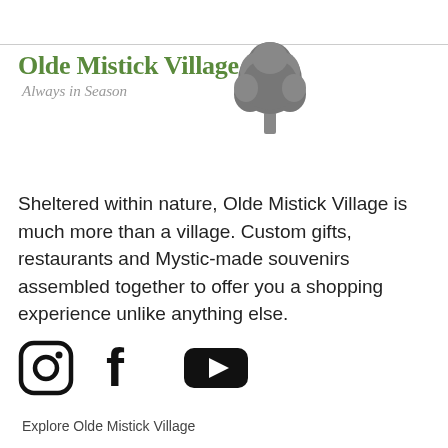[Figure (logo): Olde Mistick Village logo with tree illustration and text 'Always in Season']
Sheltered within nature, Olde Mistick Village is much more than a village. Custom gifts, restaurants and Mystic-made souvenirs assembled together to offer you a shopping experience unlike anything else.
[Figure (illustration): Social media icons: Instagram, Facebook, YouTube]
Explore Olde Mistick Village